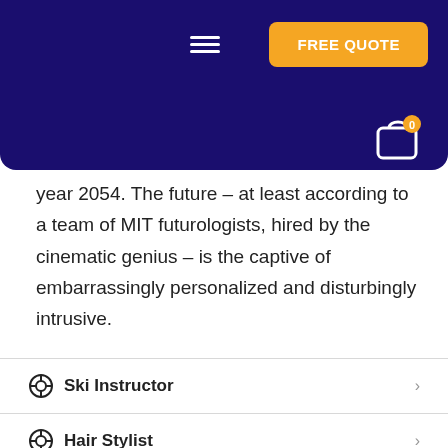FREE QUOTE
year 2054. The future – at least according to a team of MIT futurologists, hired by the cinematic genius – is the captive of embarrassingly personalized and disturbingly intrusive.
Ski Instructor
Hair Stylist
Wedding Planner